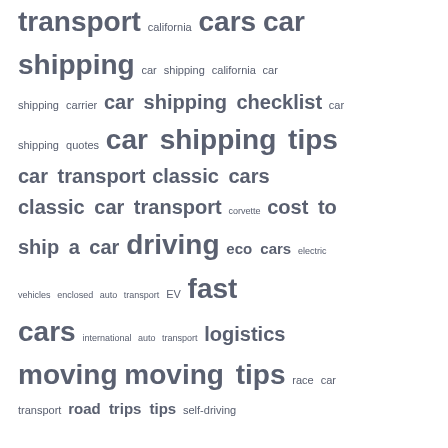[Figure (infographic): Tag cloud with automotive/transport related keywords in varying font sizes indicating frequency/importance. Terms include: transport, california, cars, car shipping, car shipping california, car shipping carrier, car shipping checklist, car shipping quotes, car shipping tips, car transport, classic cars, classic car transport, corvette, cost to ship a car, driving, eco cars, electric vehicles, enclosed auto transport, EV, fast cars, international auto transport, logistics, moving, moving tips, race car transport, road trips tips, self-driving]